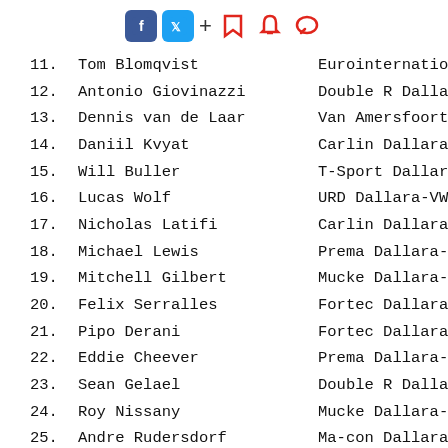Social media icons: Facebook, Twitter, plus, bookmark, bell, comment
11. Tom Blomqvist — Eurointernational
12. Antonio Giovinazzi — Double R Dallara
13. Dennis van de Laar — Van Amersfoort
14. Daniil Kvyat — Carlin Dallara-
15. Will Buller — T-Sport Dallara-
16. Lucas Wolf — URD Dallara-VW
17. Nicholas Latifi — Carlin Dallara-
18. Michael Lewis — Prema Dallara-M
19. Mitchell Gilbert — Mucke Dallara-M
20. Felix Serralles — Fortec Dallara-
21. Pipo Derani — Fortec Dallara-
22. Eddie Cheever — Prema Dallara-M
23. Sean Gelael — Double R Dallara
24. Roy Nissany — Mucke Dallara-M
25. Andre Rudersdorf — Ma-con Dallara-